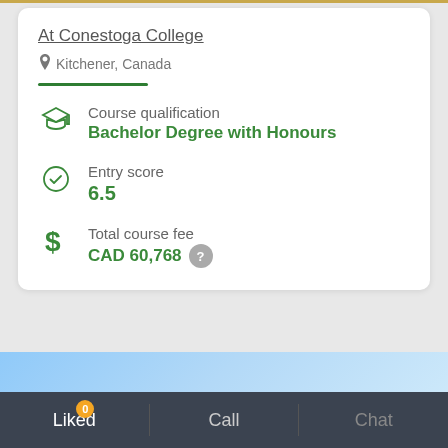At Conestoga College
Kitchener, Canada
Course qualification
Bachelor Degree with Honours
Entry score
6.5
Total course fee
CAD 60,768
Liked 0  |  Call  |  Chat